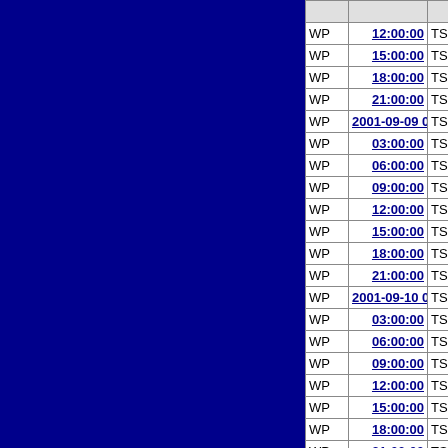|  | Time |  | Value |
| --- | --- | --- | --- |
| WP | 12:00:00 | TS | 19.5 |
| WP | 15:00:00 | TS | 19.3 |
| WP | 18:00:00 | TS | 19.2 |
| WP | 21:00:00 | TS | 18.9 |
| WP | 2001-09-09 00:00:00 | TS | 18.8 |
| WP | 03:00:00 | TS | 18.7 |
| WP | 06:00:00 | TS | 18.7 |
| WP | 09:00:00 | TS | 18.6 |
| WP | 12:00:00 | TS | 18.5 |
| WP | 15:00:00 | TS | 18.4 |
| WP | 18:00:00 | TS | 18.4 |
| WP | 21:00:00 | TS | 18.2 |
| WP | 2001-09-10 00:00:00 | TS | 18.2 |
| WP | 03:00:00 | TS | 18.2 |
| WP | 06:00:00 | TS | 18.3 |
| WP | 09:00:00 | TS | 18.2 |
| WP | 12:00:00 | TS | 18.3 |
| WP | 15:00:00 | TS | 18.3 |
| WP | 18:00:00 | TS | 18.5 |
| WP | 21:00:00 | TS | 18.6 |